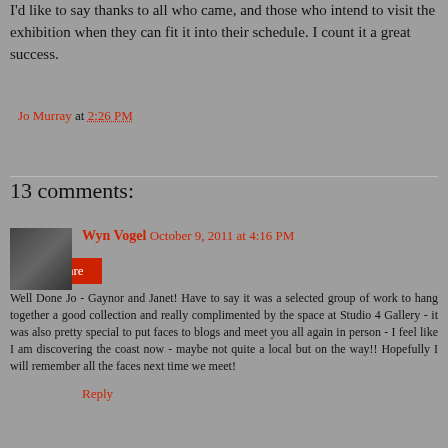I'd like to say thanks to all who came, and those who intend to visit the exhibition when they can fit it into their schedule. I count it a great success.
Jo Murray at 2:26 PM
Share
13 comments:
Wyn Vogel October 9, 2011 at 4:16 PM
Well Done Jo - Gaynor and Janet! Have to say it was a selected group of work to hang together a good collection and really complimented by the space at Studio 4 Gallery - it was also pretty special to put faces to blogs and meet you all again in person - I feel like I am discovering the coast now - maybe not quite a local but on the way!! Hopefully I will remember all the faces next time we meet!
Reply